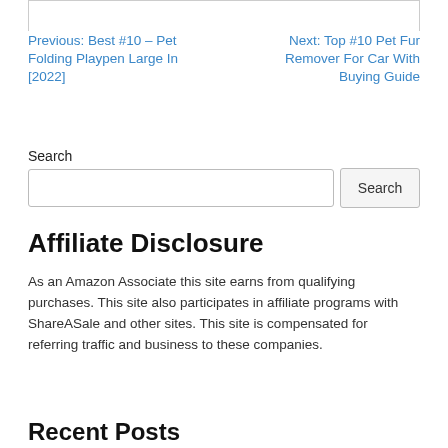Previous: Best #10 – Pet Folding Playpen Large In [2022]
Next: Top #10 Pet Fur Remover For Car With Buying Guide
Search
Affiliate Disclosure
As an Amazon Associate this site earns from qualifying purchases. This site also participates in affiliate programs with ShareASale and other sites. This site is compensated for referring traffic and business to these companies.
Recent Posts